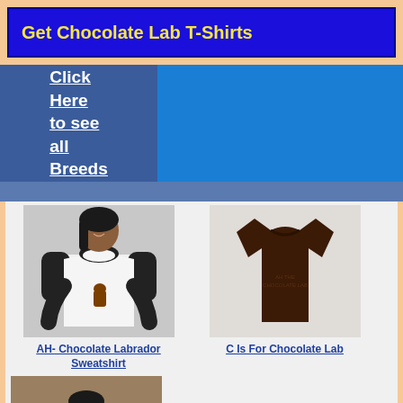Get Chocolate Lab T-Shirts
Click Here to see all Breeds
[Figure (photo): Woman wearing black and white raglan t-shirt with chocolate lab design]
AH- Chocolate Labrador Sweatshirt
[Figure (photo): Dark brown t-shirt with 'C Is For Chocolate Lab' text]
C Is For Chocolate Lab